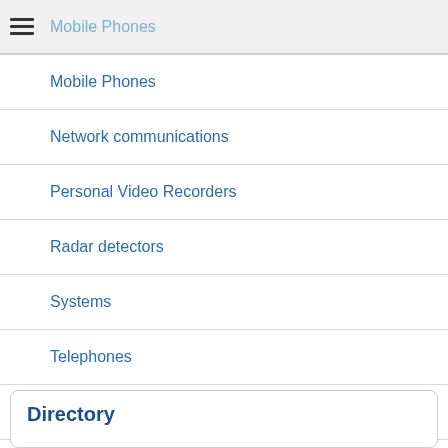Mobile Phones
Mobile Phones
Network communications
Personal Video Recorders
Radar detectors
Systems
Telephones
Televisions
Tvs
Video
Directory